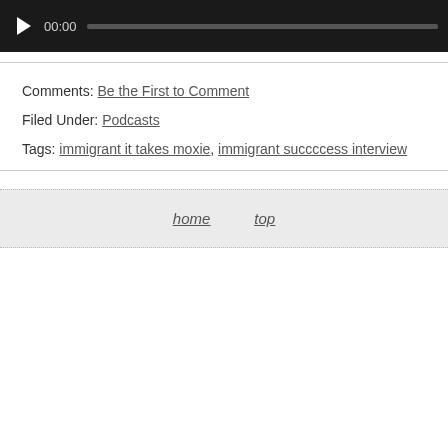[Figure (other): Audio player with play button, time display showing 00:00, and a progress/seek bar on dark background]
Comments: Be the First to Comment
Filed Under: Podcasts
Tags: immigrant it takes moxie, immigrant succccess interview
home   top